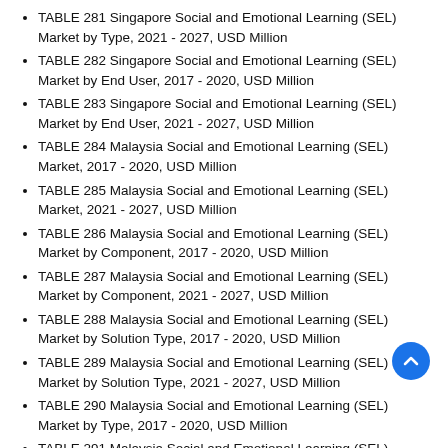TABLE 281 Singapore Social and Emotional Learning (SEL) Market by Type, 2021 - 2027, USD Million
TABLE 282 Singapore Social and Emotional Learning (SEL) Market by End User, 2017 - 2020, USD Million
TABLE 283 Singapore Social and Emotional Learning (SEL) Market by End User, 2021 - 2027, USD Million
TABLE 284 Malaysia Social and Emotional Learning (SEL) Market, 2017 - 2020, USD Million
TABLE 285 Malaysia Social and Emotional Learning (SEL) Market, 2021 - 2027, USD Million
TABLE 286 Malaysia Social and Emotional Learning (SEL) Market by Component, 2017 - 2020, USD Million
TABLE 287 Malaysia Social and Emotional Learning (SEL) Market by Component, 2021 - 2027, USD Million
TABLE 288 Malaysia Social and Emotional Learning (SEL) Market by Solution Type, 2017 - 2020, USD Million
TABLE 289 Malaysia Social and Emotional Learning (SEL) Market by Solution Type, 2021 - 2027, USD Million
TABLE 290 Malaysia Social and Emotional Learning (SEL) Market by Type, 2017 - 2020, USD Million
TABLE 291 Malaysia Social and Emotional Learning (SEL)...